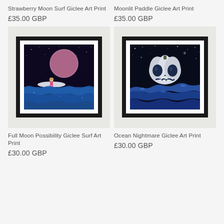Strawberry Moon Surf Giclee Art Print
£35.00 GBP
Moonlit Paddle Giclee Art Print
£35.00 GBP
[Figure (illustration): Framed art print of a girl sitting on a surfboard under a large pink moon over blue ocean waves, dark starry sky background]
[Figure (illustration): Framed art print of a white pumpkin jack-o-lantern skull floating on blue swirling ocean waves with dark starry sky background]
Full Moon Possibility Giclee Surf Art Print
£30.00 GBP
Ocean Nightmare Giclee Art Print
£30.00 GBP